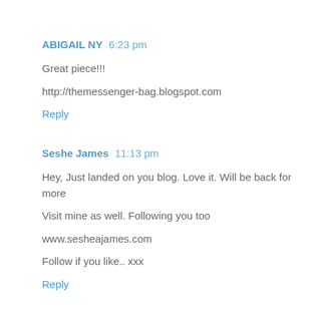ABIGAIL NY  6:23 pm
Great piece!!!
http://themessenger-bag.blogspot.com
Reply
Seshe James  11:13 pm
Hey, Just landed on you blog. Love it. Will be back for more
Visit mine as well. Following you too
www.sesheajames.com
Follow if you like.. xxx
Reply